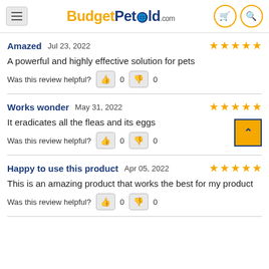BudgetPetWorld.com
Amazed  Jul 23, 2022  ★★★★★
A powerful and highly effective solution for pets
Was this review helpful?  👍 0  👎 0
Works wonder  May 31, 2022  ★★★★★
It eradicates all the fleas and its eggs
Was this review helpful?  👍 0  👎 0
Happy to use this product  Apr 05, 2022  ★★★★★
This is an amazing product that works the best for my product
Was this review helpful?  👍 0  👎 0